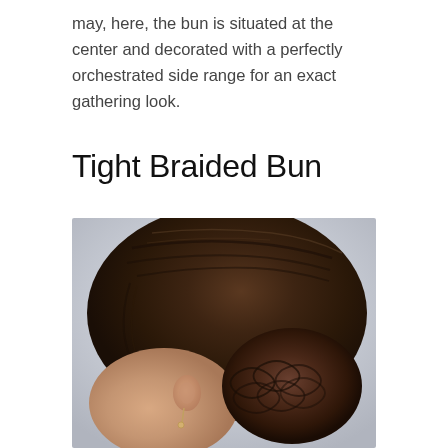may, here, the bun is situated at the center and decorated with a perfectly orchestrated side range for an exact gathering look.
Tight Braided Bun
[Figure (photo): A woman photographed from behind and slightly to the side, showing a tight braided bun hairstyle. Her dark brown hair is braided from the front and sides, converging into a large, intricately woven bun at the back of her head. She is wearing small drop earrings.]